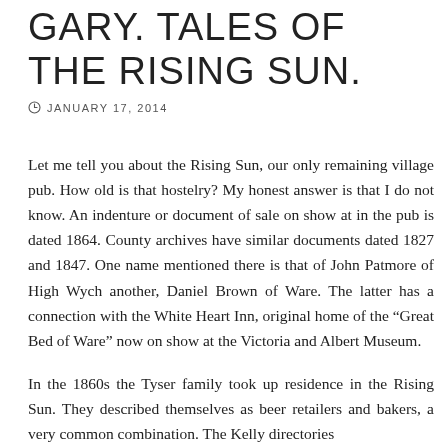GARY. TALES OF THE RISING SUN.
JANUARY 17, 2014
Let me tell you about the Rising Sun, our only remaining village pub. How old is that hostelry? My honest answer is that I do not know. An indenture or document of sale on show at in the pub is dated 1864. County archives have similar documents dated 1827 and 1847. One name mentioned there is that of John Patmore of High Wych another, Daniel Brown of Ware. The latter has a connection with the White Heart Inn, original home of the “Great Bed of Ware” now on show at the Victoria and Albert Museum.
In the 1860s the Tyser family took up residence in the Rising Sun. They described themselves as beer retailers and bakers, a very common combination. The Kelly directories